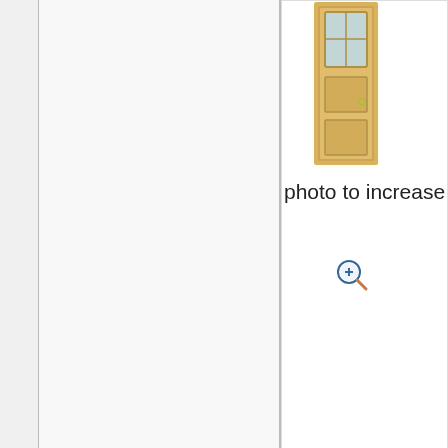[Figure (photo): Wooden door with glass panels, shown as a product thumbnail image]
photo to increase
[Figure (other): Zoom-in magnifier cursor icon with a plus sign]
Transforming your spent on furniture s found with discoun not mean stores tha